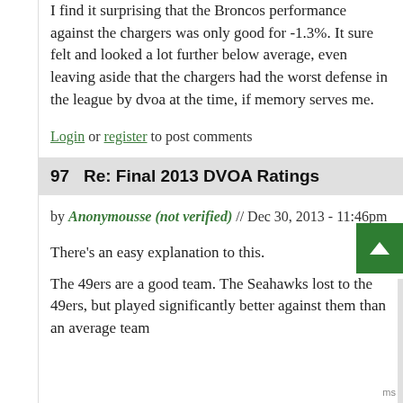I find it surprising that the Broncos performance against the chargers was only good for -1.3%. It sure felt and looked a lot further below average, even leaving aside that the chargers had the worst defense in the league by dvoa at the time, if memory serves me.
Login or register to post comments
97   Re: Final 2013 DVOA Ratings
by Anonymousse (not verified) // Dec 30, 2013 - 11:46pm
There's an easy explanation to this.
The 49ers are a good team. The Seahawks lost to the 49ers, but played significantly better against them than an average team